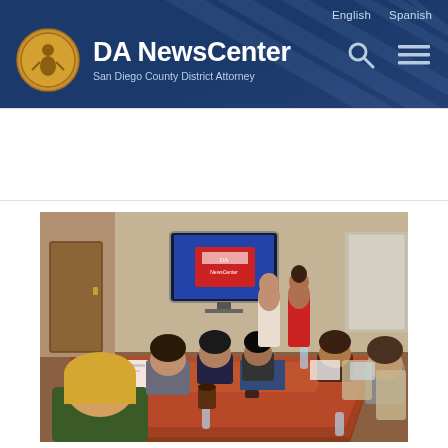DA NewsCenter — San Diego County District Attorney. Navigation: English | Spanish. Search and menu icons.
[Figure (photo): A conference room meeting scene. Several young people (students or interns) sit around a large reddish-brown rectangular conference table, facing two presenters standing at the far end of the room in front of a large wall-mounted TV screen showing a presentation slide. Papers, folders, and water bottles are on the table. The room has beige/tan walls and overhead lighting.]